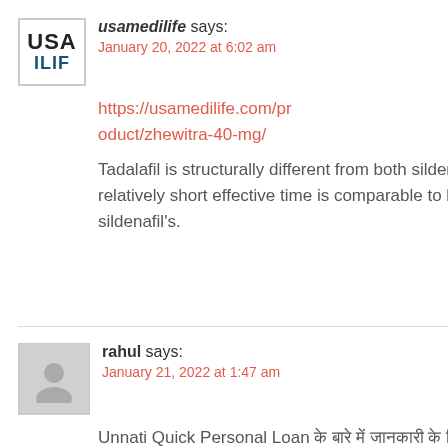usamedilife says: January 20, 2022 at 6:02 am
https://usamedilife.com/product/zhewitra-40-mg/ Tadalafil is structurally different from both sildenafil and vardenafil. Vardenafil's relatively short effective time is comparable to but somewhat longer than sildenafil's.
Reply
rahul says: January 21, 2022 at 1:47 am
Unnati Quick Personal Loan के बारे में जानकारी के लिए ₹20,000 का लोन 3 महीने